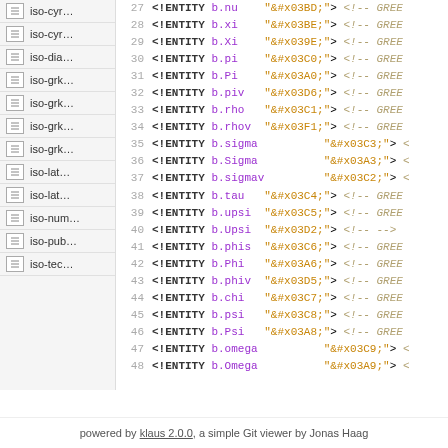iso-cyr...
iso-cyr...
iso-dia...
iso-grk...
iso-grk...
iso-grk...
iso-grk...
iso-lat...
iso-lat...
iso-num...
iso-pub...
iso-tec...
27  <!ENTITY b.nu    "&#x03BD;"> <!-- GREE
28  <!ENTITY b.xi    "&#x03BE;"> <!-- GREE
29  <!ENTITY b.Xi    "&#x039E;"> <!-- GREE
30  <!ENTITY b.pi    "&#x03C0;"> <!-- GREE
31  <!ENTITY b.Pi    "&#x03A0;"> <!-- GREE
32  <!ENTITY b.piv   "&#x03D6;"> <!-- GREE
33  <!ENTITY b.rho   "&#x03C1;"> <!-- GREE
34  <!ENTITY b.rhov  "&#x03F1;"> <!-- GREE
35  <!ENTITY b.sigma          "&#x03C3;"> <
36  <!ENTITY b.Sigma          "&#x03A3;"> <
37  <!ENTITY b.sigmav         "&#x03C2;"> <
38  <!ENTITY b.tau   "&#x03C4;"> <!-- GREE
39  <!ENTITY b.upsi  "&#x03C5;"> <!-- GREE
40  <!ENTITY b.Upsi  "&#x03D2;"> <!-- -->
41  <!ENTITY b.phis  "&#x03C6;"> <!-- GREE
42  <!ENTITY b.Phi   "&#x03A6;"> <!-- GREE
43  <!ENTITY b.phiv  "&#x03D5;"> <!-- GREE
44  <!ENTITY b.chi   "&#x03C7;"> <!-- GREE
45  <!ENTITY b.psi   "&#x03C8;"> <!-- GREE
46  <!ENTITY b.Psi   "&#x03A8;"> <!-- GREE
47  <!ENTITY b.omega          "&#x03C9;"> <
48  <!ENTITY b.Omega          "&#x03A9;"> <
powered by klaus 2.0.0, a simple Git viewer by Jonas Haag